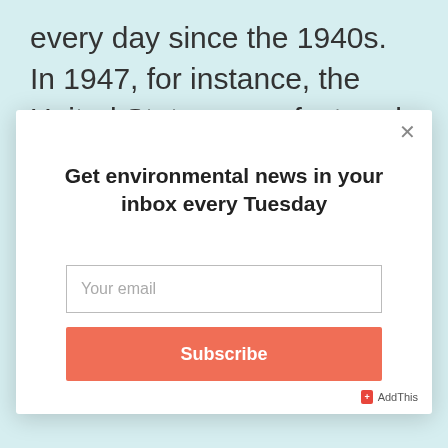every day since the 1940s. In 1947, for instance, the United States manufactured 124 million pounds of
[Figure (screenshot): Modal popup overlay with newsletter subscription form. Contains a close button (×), title 'Get environmental news in your inbox every Tuesday', an email input field with placeholder 'Your email', and a salmon-colored 'Subscribe' button. Bottom right shows AddThis branding.]